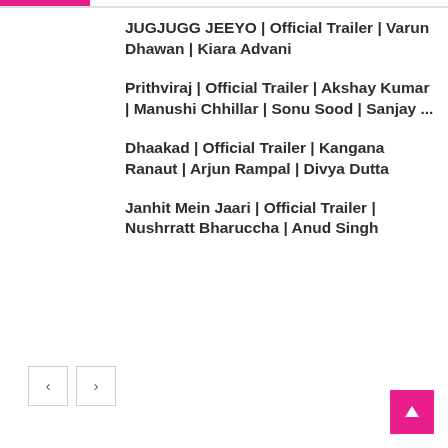JUGJUGG JEEYO | Official Trailer | Varun Dhawan | Kiara Advani
Prithviraj | Official Trailer | Akshay Kumar | Manushi Chhillar | Sonu Sood | Sanjay ...
Dhaakad | Official Trailer | Kangana Ranaut | Arjun Rampal | Divya Dutta
Janhit Mein Jaari | Official Trailer | Nushrratt Bharuccha | Anud Singh